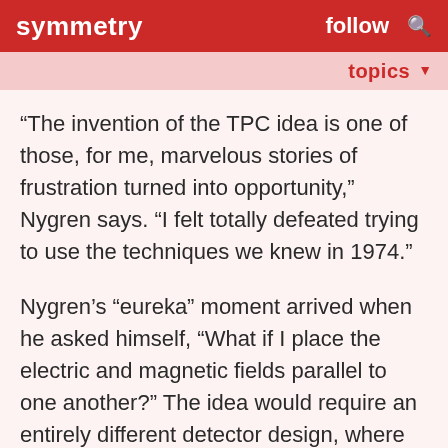symmetry   follow   🔍
topics ▼
“The invention of the TPC idea is one of those, for me, marvelous stories of frustration turned into opportunity,” Nygren says. “I felt totally defeated trying to use the techniques we knew in 1974.”
Nygren’s “eureka” moment arrived when he asked himself, “What if I place the electric and magnetic fields parallel to one another?” The idea would require an entirely different detector design, where detection wires would be placed at either end of the device as opposed to along